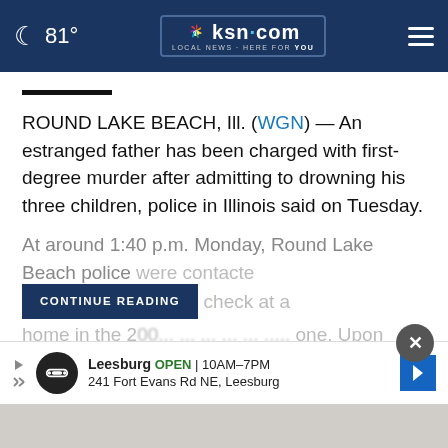81° | ksn.com LOCAL NEWS · HERE FOR YOU
ROUND LAKE BEACH, Ill. (WGN) — An estranged father has been charged with first-degree murder after admitting to drowning his three children, police in Illinois said on Tuesday.
At around 1:40 p.m. Monday, Round Lake Beach police were contacted [CONTINUE READING] check at a home in the 2[...] one. Upon
[Figure (screenshot): CONTINUE READING button overlay on article text]
[Figure (screenshot): Advertisement bar: Leesburg OPEN 10AM-7PM, 241 Fort Evans Rd NE, Leesburg with map pin icon]